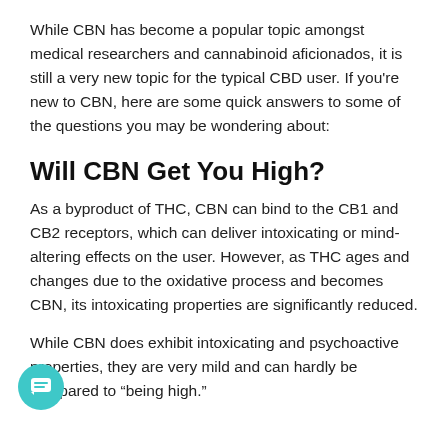While CBN has become a popular topic amongst medical researchers and cannabinoid aficionados, it is still a very new topic for the typical CBD user. If you're new to CBN, here are some quick answers to some of the questions you may be wondering about:
Will CBN Get You High?
As a byproduct of THC, CBN can bind to the CB1 and CB2 receptors, which can deliver intoxicating or mind-altering effects on the user. However, as THC ages and changes due to the oxidative process and becomes CBN, its intoxicating properties are significantly reduced.
While CBN does exhibit intoxicating and psychoactive properties, they are very mild and can hardly be compared to “being high.”